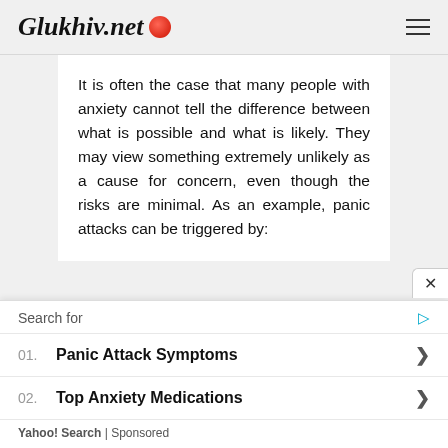Glukhiv.net
It is often the case that many people with anxiety cannot tell the difference between what is possible and what is likely. They may view something extremely unlikely as a cause for concern, even though the risks are minimal. As an example, panic attacks can be triggered by:
Search for
01. Panic Attack Symptoms
02. Top Anxiety Medications
Yahoo! Search | Sponsored